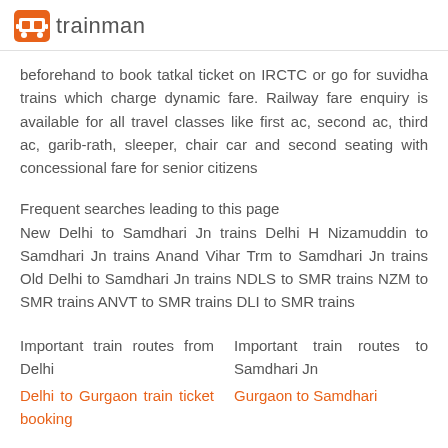trainman
beforehand to book tatkal ticket on IRCTC or go for suvidha trains which charge dynamic fare. Railway fare enquiry is available for all travel classes like first ac, second ac, third ac, garib-rath, sleeper, chair car and second seating with concessional fare for senior citizens
Frequent searches leading to this page
New Delhi to Samdhari Jn trains Delhi H Nizamuddin to Samdhari Jn trains Anand Vihar Trm to Samdhari Jn trains Old Delhi to Samdhari Jn trains NDLS to SMR trains NZM to SMR trains ANVT to SMR trains DLI to SMR trains
Important train routes from Delhi
Delhi to Gurgaon train ticket booking
Important train routes to Samdhari Jn
Gurgaon to Samdhari